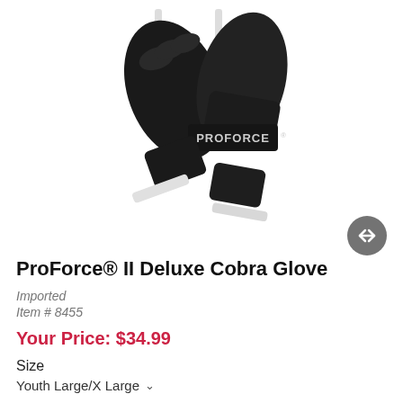[Figure (photo): Black ProForce martial arts gloves (ProForce II Deluxe Cobra Glove) photographed on white background, showing two gloves with white trim and ProForce logo in white text on the knuckle area]
ProForce® II Deluxe Cobra Glove
Imported
Item # 8455
Your Price: $34.99
Size
Youth Large/X Large